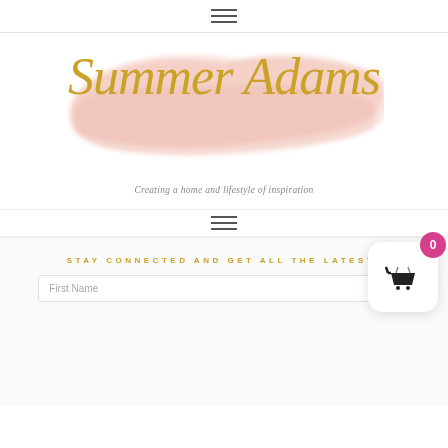≡ (hamburger navigation menu)
[Figure (logo): Summer Adams logo with pink brush stroke background and cursive gold text reading 'Summer Adams', with tagline 'Creating a home and lifestyle of inspiration']
≡ (hamburger navigation menu, second)
STAY CONNECTED AND GET ALL THE LATEST!
First Name